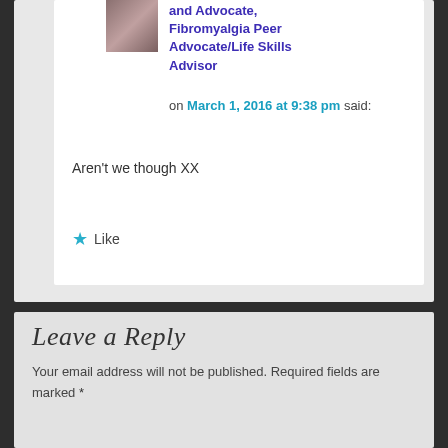and Advocate, Fibromyalgia Peer Advocate/Life Skills Advisor
on March 1, 2016 at 9:38 pm said:
Aren't we though XX
★ Like
Leave a Reply
Your email address will not be published. Required fields are marked *